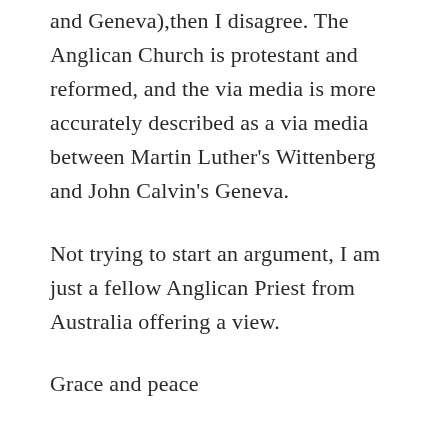and Geneva),then I disagree. The Anglican Church is protestant and reformed, and the via media is more accurately described as a via media between Martin Luther's Wittenberg and John Calvin's Geneva.
Not trying to start an argument, I am just a fellow Anglican Priest from Australia offering a view.
Grace and peace